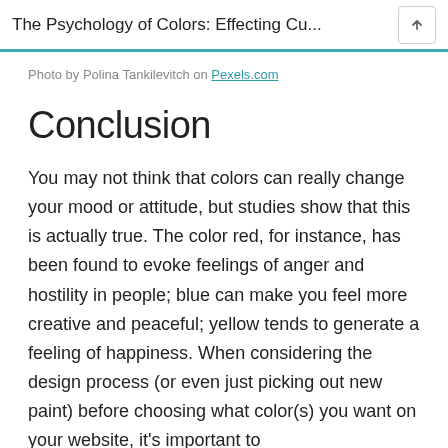The Psychology of Colors: Effecting Cu...
Photo by Polina Tankilevitch on Pexels.com
Conclusion
You may not think that colors can really change your mood or attitude, but studies show that this is actually true. The color red, for instance, has been found to evoke feelings of anger and hostility in people; blue can make you feel more creative and peaceful; yellow tends to generate a feeling of happiness. When considering the design process (or even just picking out new paint) before choosing what color(s) you want on your website, it’s important to